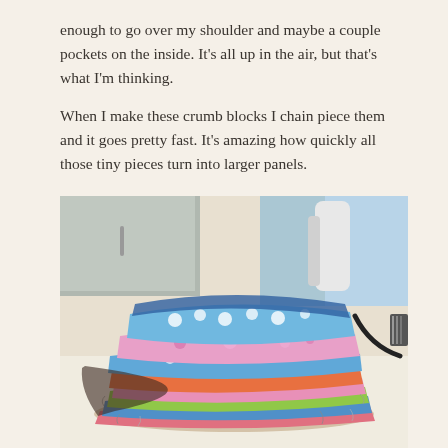enough to go over my shoulder and maybe a couple pockets on the inside. It's all up in the air, but that's what I'm thinking.
When I make these crumb blocks I chain piece them and it goes pretty fast. It's amazing how quickly all those tiny pieces turn into larger panels.
[Figure (photo): A large stack of colorful patchwork quilt crumb blocks piled on a white table, with various fabric patterns including polka dots, florals, and stripes in blues, pinks, greens and reds. A sewing machine cord is visible on the right side and a filing cabinet and chair are in the background.]